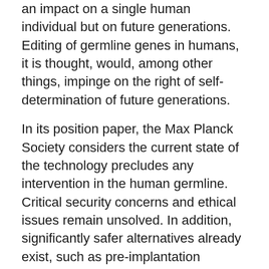an impact on a single human individual but on future generations. Editing of germline genes in humans, it is thought, would, among other things, impinge on the right of self-determination of future generations.
In its position paper, the Max Planck Society considers the current state of the technology precludes any intervention in the human germline. Critical security concerns and ethical issues remain unsolved. In addition, significantly safer alternatives already exist, such as pre-implantation diagnostics. Before germline editing can be employed, ethical conflicts must first be resolved, and the potential benefits and risks of the adverse effects on future generations need to be evaluated. Another complicating factor is how to draw a line between curing a disease and enhancing traits, such as mental ability. In the absence of a clear means of resolving such ethical issues, the Max Planck Society rejects genome editing of the human